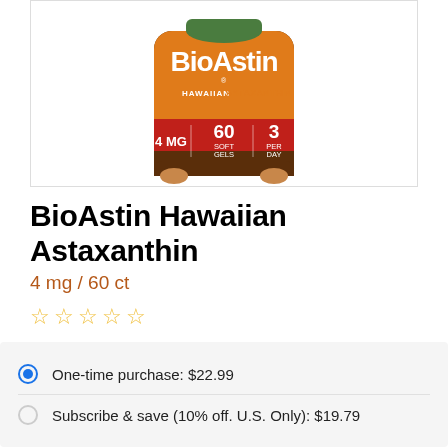[Figure (photo): BioAstin Hawaiian Astaxanthin supplement bottle — orange label with red band showing 4 MG, 60 SOFT GELS, 3 PER DAY]
BioAstin Hawaiian Astaxanthin
4 mg / 60 ct
[Figure (other): Five empty star rating icons in gold/yellow]
One-time purchase: $22.99
Subscribe & save (10% off. U.S. Only): $19.79